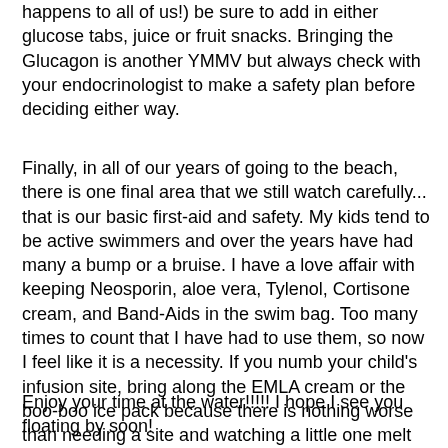happens to all of us!) be sure to add in either glucose tabs, juice or fruit snacks.  Bringing the Glucagon is another YMMV but always check with your endocrinologist to make a safety plan before deciding either way.
Finally, in all of our years of going to the beach, there is one final area that we still watch carefully... that is our basic first-aid and safety.  My kids tend to be active swimmers and over the years have had many a bump or a bruise.  I have a love affair with keeping Neosporin, aloe vera, Tylenol, Cortisone cream, and Band-Aids in the swim bag.  Too many times to count that I have had to use them, so now I feel like it is a necessity.  If you numb your child's infusion site, bring along the EMLA cream or the boo-boo ice pack because there is nothing worse than needing a site and watching a little one melt down at the thought of it.
Enjoy your time at the water!!!!!  I hope I see you floating by soon!